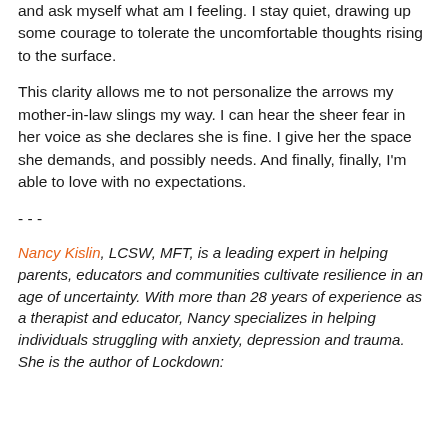and ask myself what am I feeling. I stay quiet, drawing up some courage to tolerate the uncomfortable thoughts rising to the surface.
This clarity allows me to not personalize the arrows my mother-in-law slings my way. I can hear the sheer fear in her voice as she declares she is fine. I give her the space she demands, and possibly needs. And finally, finally, I'm able to love with no expectations.
- - -
Nancy Kislin, LCSW, MFT, is a leading expert in helping parents, educators and communities cultivate resilience in an age of uncertainty. With more than 28 years of experience as a therapist and educator, Nancy specializes in helping individuals struggling with anxiety, depression and trauma. She is the author of Lockdown: